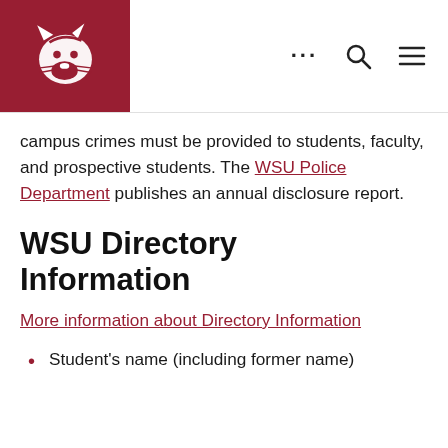WSU navigation header with logo and icons
campus crimes must be provided to students, faculty, and prospective students. The WSU Police Department publishes an annual disclosure report.
WSU Directory Information
More information about Directory Information
Student's name (including former name)